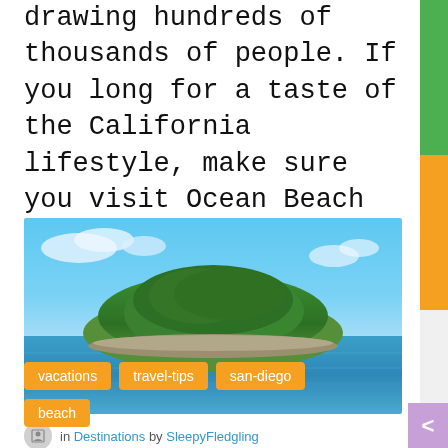drawing hundreds of thousands of people. If you long for a taste of the California lifestyle, make sure you visit Ocean Beach in San Diego.
[Figure (photo): A lush green tropical island surrounded by blue ocean water, with a partly cloudy blue sky above.]
in Destinations by SleepyFledgling
vacations
travel-tips
san-diego
beach